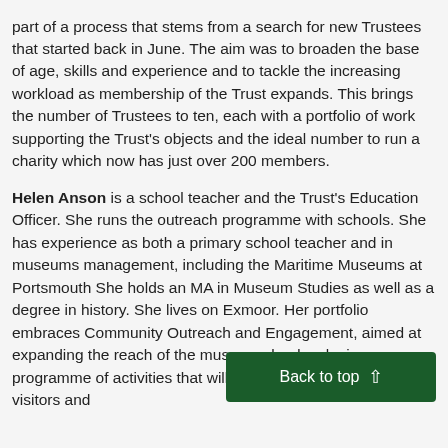part of a process that stems from a search for new Trustees that started back in June. The aim was to broaden the base of age, skills and experience and to tackle the increasing workload as membership of the Trust expands. This brings the number of Trustees to ten, each with a portfolio of work supporting the Trust's objects and the ideal number to run a charity which now has just over 200 members.
Helen Anson is a school teacher and the Trust's Education Officer. She runs the outreach programme with schools. She has experience as both a primary school teacher and in museums management, including the Maritime Museums at Portsmouth She holds an MA in Museum Studies as well as a degree in history. She lives on Exmoor. Her portfolio embraces Community Outreach and Engagement, aimed at expanding the reach of the museums by developing a programme of activities that will engage with older students, visitors and